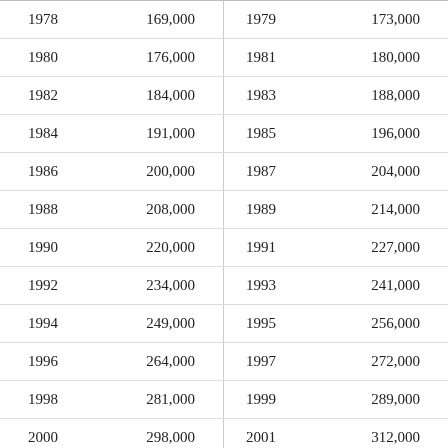| 1978 | 169,000 |
| 1980 | 176,000 |
| 1982 | 184,000 |
| 1984 | 191,000 |
| 1986 | 200,000 |
| 1988 | 208,000 |
| 1990 | 220,000 |
| 1992 | 234,000 |
| 1994 | 249,000 |
| 1996 | 264,000 |
| 1998 | 281,000 |
| 2000 | 298,000 |
| 2002 | 328,000 |
| 1979 | 173,000 |
| 1981 | 180,000 |
| 1983 | 188,000 |
| 1985 | 196,000 |
| 1987 | 204,000 |
| 1989 | 214,000 |
| 1991 | 227,000 |
| 1993 | 241,000 |
| 1995 | 256,000 |
| 1997 | 272,000 |
| 1999 | 289,000 |
| 2001 | 312,000 |
| 2003 | 346,000 |